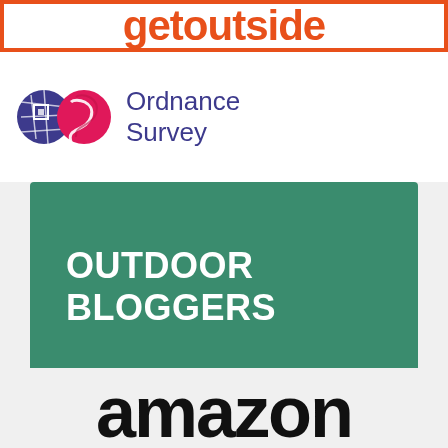[Figure (logo): GetOutside logo in orange with orange border frame]
[Figure (logo): Ordnance Survey logo with two circular map icons and purple text reading Ordnance Survey]
[Figure (logo): Green rectangle banner with white bold text reading OUTDOOR BLOGGERS]
[Figure (logo): Amazon logo in large bold black text partially visible at bottom]